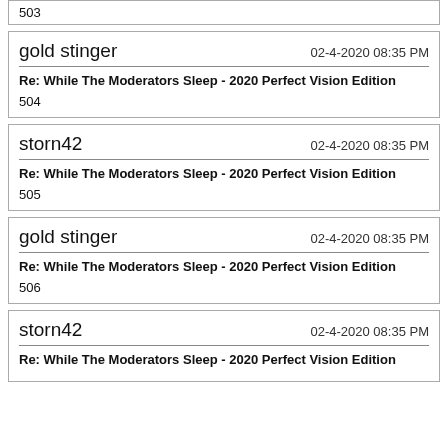503
gold stinger
02-4-2020 08:35 PM
Re: While The Moderators Sleep - 2020 Perfect Vision Edition
504
storn42
02-4-2020 08:35 PM
Re: While The Moderators Sleep - 2020 Perfect Vision Edition
505
gold stinger
02-4-2020 08:35 PM
Re: While The Moderators Sleep - 2020 Perfect Vision Edition
506
storn42
02-4-2020 08:35 PM
Re: While The Moderators Sleep - 2020 Perfect Vision Edition